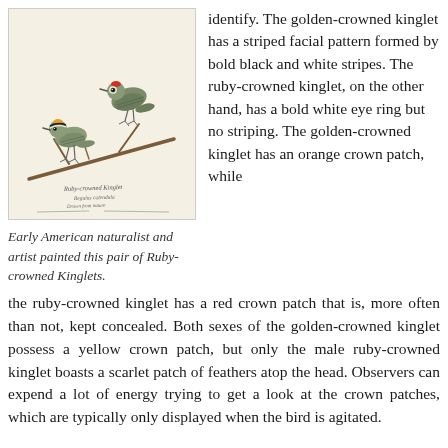[Figure (illustration): Vintage naturalist illustration of a pair of Ruby-crowned Kinglets perched on branches, with handwritten-style caption text below the birds on a cream/beige background.]
Early American naturalist and artist painted this pair of Ruby-crowned Kinglets.
identify. The golden-crowned kinglet has a striped facial pattern formed by bold black and white stripes. The ruby-crowned kinglet, on the other hand, has a bold white eye ring but no striping. The golden-crowned kinglet has an orange crown patch, while the ruby-crowned kinglet has a red crown patch that is, more often than not, kept concealed. Both sexes of the golden-crowned kinglet possess a yellow crown patch, but only the male ruby-crowned kinglet boasts a scarlet patch of feathers atop the head. Observers can expend a lot of energy trying to get a look at the crown patches, which are typically only displayed when the bird is agitated.